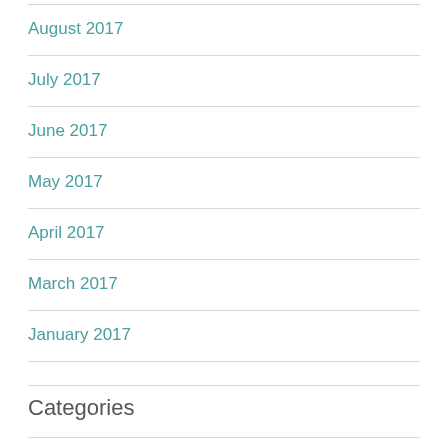August 2017
July 2017
June 2017
May 2017
April 2017
March 2017
January 2017
Categories